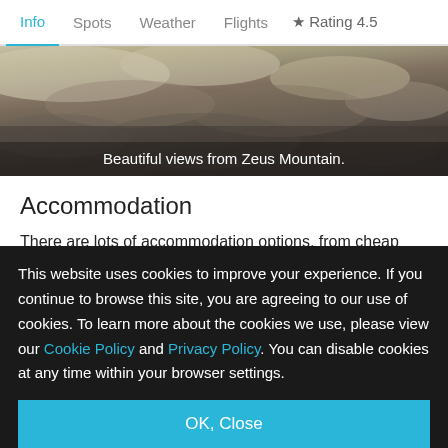Info | Spots | Weather | Flights | ★ Rating 4.5
[Figure (photo): Rocky mountain landscape - Beautiful views from Zeus Mountain]
Beautiful views from Zeus Mountain.
Accommodation
There are lots of accommodation options, from cheap rooms to luxurious villas and beach hotels. The island has
This website uses cookies to improve your experience. If you continue to browse this site, you are agreeing to our use of cookies. To learn more about the cookies we use, please view our Cookie Policy and Privacy Policy. You can disable cookies at any time within your browser settings.
OK, Close